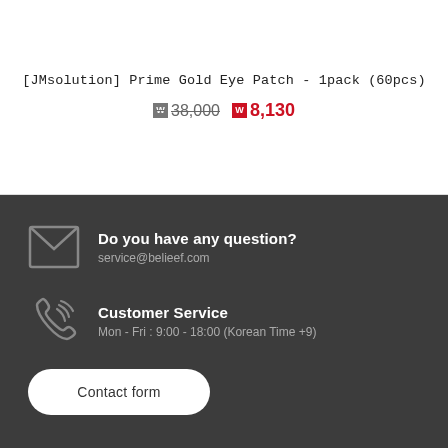[JMsolution] Prime Gold Eye Patch - 1pack (60pcs)
₩38,000  ₩8,130
Do you have any question?
service@belieef.com
Customer Service
Mon - Fri : 9:00 - 18:00 (Korean Time +9)
Contact form